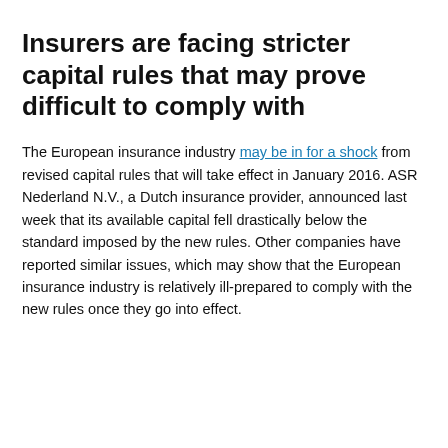Insurers are facing stricter capital rules that may prove difficult to comply with
The European insurance industry may be in for a shock from revised capital rules that will take effect in January 2016. ASR Nederland N.V., a Dutch insurance provider, announced last week that its available capital fell drastically below the standard imposed by the new rules. Other companies have reported similar issues, which may show that the European insurance industry is relatively ill-prepared to comply with the new rules once they go into effect.